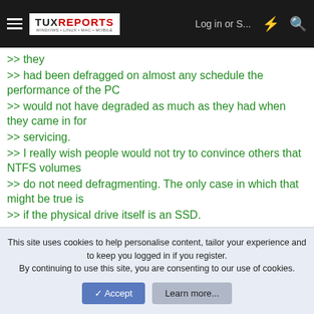TUX REPORTS — Log in or S... [nav icons]
>> they
>> had been defragged on almost any schedule the performance of the PC
>> would not have degraded as much as they had when they came in for
>> servicing.
>> I really wish people would not try to convince others that NTFS volumes
>> do not need defragmenting. The only case in which that might be true is
>> if the physical drive itself is an SSD.
>
> I really wish people like you wouldn't post such erroneous nonsense.
>
This site uses cookies to help personalise content, tailor your experience and to keep you logged in if you register.
By continuing to use this site, you are consenting to our use of cookies.